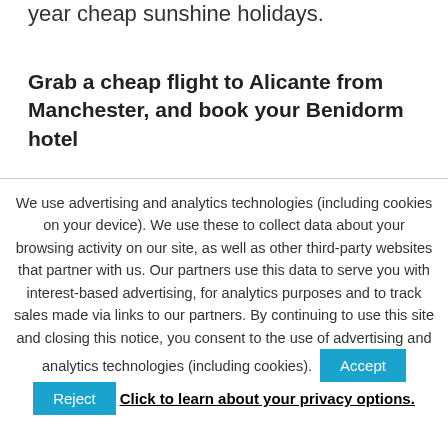year cheap sunshine holidays.
Grab a cheap flight to Alicante from Manchester, and book your Benidorm hotel
We use advertising and analytics technologies (including cookies on your device). We use these to collect data about your browsing activity on our site, as well as other third-party websites that partner with us. Our partners use this data to serve you with interest-based advertising, for analytics purposes and to track sales made via links to our partners. By continuing to use this site and closing this notice, you consent to the use of advertising and analytics technologies (including cookies).
Accept
Reject
Click to learn about your privacy options.